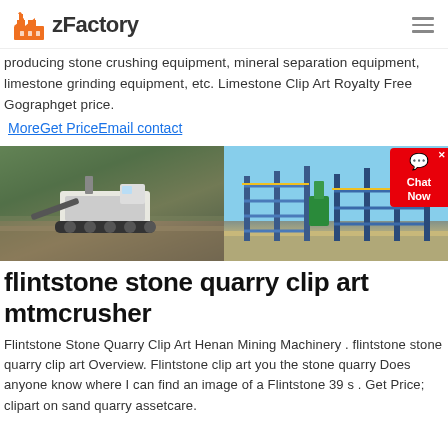zFactory
producing stone crushing equipment, mineral separation equipment, limestone grinding equipment, etc. Limestone Clip Art Royalty Free Gographget price.
MoreGet PriceEmail contact
[Figure (photo): Two images side by side: left shows a mobile stone crusher machine on a quarry site, right shows an industrial mineral processing plant with blue steel framework structures.]
flintstone stone quarry clip art mtmcrusher
Flintstone Stone Quarry Clip Art Henan Mining Machinery . flintstone stone quarry clip art Overview. Flintstone clip art you the stone quarry Does anyone know where I can find an image of a Flintstone 39 s . Get Price; clipart on sand quarry assetcare.